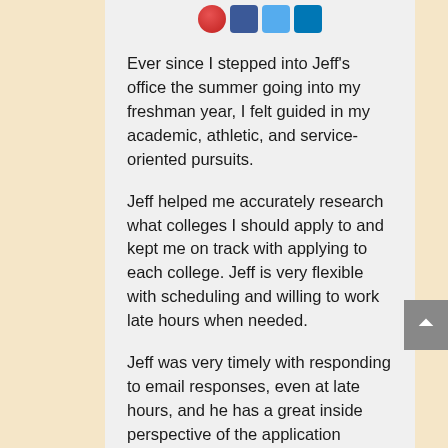[Figure (other): Social media icon buttons including a red circular icon and blue rectangular icons for Facebook, Twitter, LinkedIn]
Ever since I stepped into Jeff's office the summer going into my freshman year, I felt guided in my academic, athletic, and service-oriented pursuits.

Jeff helped me accurately research what colleges I should apply to and kept me on track with applying to each college. Jeff is very flexible with scheduling and willing to work late hours when needed.

Jeff was very timely with responding to email responses, even at late hours, and he has a great inside perspective of the application process, as he is on the board of UCLA admissions!